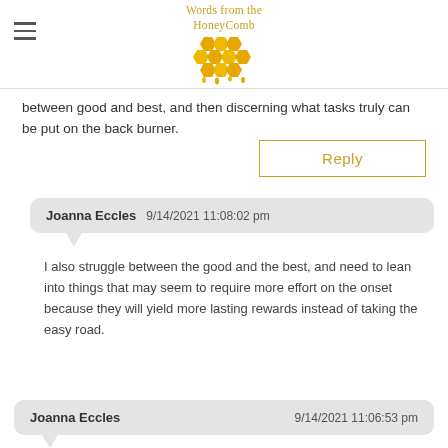Words from the Honeycomb
between good and best, and then discerning what tasks truly can be put on the back burner.
Reply
Joanna Eccles  9/14/2021 11:08:02 pm
I also struggle between the good and the best, and need to lean into things that may seem to require more effort on the onset because they will yield more lasting rewards instead of taking the easy road.
Joanna Eccles  9/14/2021 11:06:53 pm